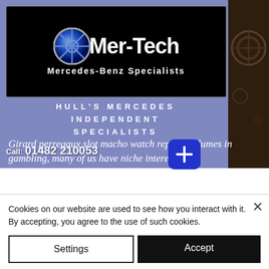[Figure (logo): Mer-Tech Mercedes-Benz Specialists logo on black background with blue Mercedes-style wheel/cross emblem]
HULL'S MERCEDES INDEPENDENT SPECIALISTS
Girard perregaux slot macho watch replica volumes in gambling, many of us have niche interests. Consequently, we offer detailed lists of American online casinos
Call: 01482 210053
[Figure (other): Blue rounded square button with white plus sign]
Cookies on our website are used to see how you interact with it. By accepting, you agree to the use of such cookies.
Settings
Accept